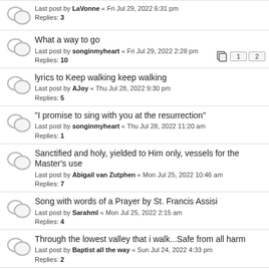Last post by LaVonne « Fri Jul 29, 2022 6:31 pm
Replies: 3
What a way to go
Last post by songinmyheart « Fri Jul 29, 2022 2:28 pm
Replies: 10
lyrics to Keep walking keep walking
Last post by AJoy « Thu Jul 28, 2022 9:30 pm
Replies: 5
"I promise to sing with you at the resurrection"
Last post by songinmyheart « Thu Jul 28, 2022 11:20 am
Replies: 1
Sanctified and holy, yielded to Him only, vessels for the Master's use
Last post by Abigail van Zutphen « Mon Jul 25, 2022 10:46 am
Replies: 7
Song with words of a Prayer by St. Francis Assisi
Last post by Sarahml « Mon Jul 25, 2022 2:15 am
Replies: 4
Through the lowest valley that i walk...Safe from all harm
Last post by Baptist all the way « Sun Jul 24, 2022 4:33 pm
Replies: 2
Original author of the Hymn 'I Traded My Sins'
Last post by songinmyheart « Sun Jul 24, 2022 3:53 pm